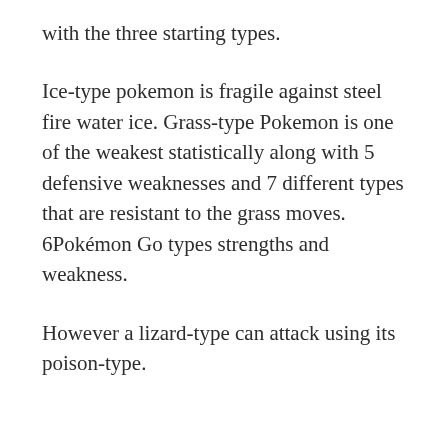with the three starting types.
Ice-type pokemon is fragile against steel fire water ice. Grass-type Pokemon is one of the weakest statistically along with 5 defensive weaknesses and 7 different types that are resistant to the grass moves. 6Pokémon Go types strengths and weakness.
However a lizard-type can attack using its poison-type.